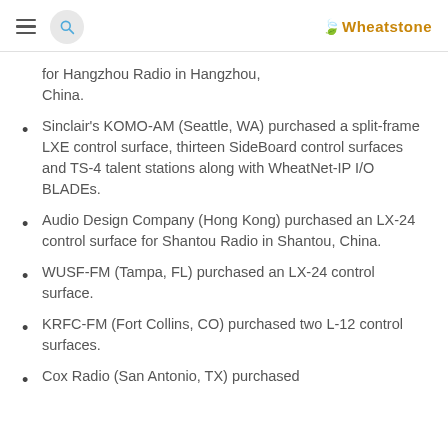Wheatstone
for Hangzhou Radio in Hangzhou, China.
Sinclair's KOMO-AM (Seattle, WA) purchased a split-frame LXE control surface, thirteen SideBoard control surfaces and TS-4 talent stations along with WheatNet-IP I/O BLADEs.
Audio Design Company (Hong Kong) purchased an LX-24 control surface for Shantou Radio in Shantou, China.
WUSF-FM (Tampa, FL) purchased an LX-24 control surface.
KRFC-FM (Fort Collins, CO) purchased two L-12 control surfaces.
Cox Radio (San Antonio, TX) purchased